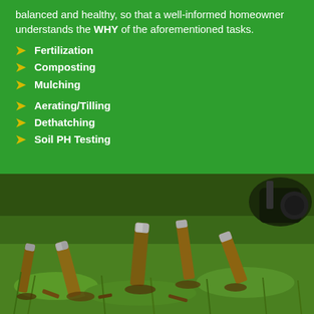balanced and healthy, so that a well-informed homeowner understands the WHY of the aforementioned tasks.
Fertilization
Composting
Mulching
Aerating/Tilling
Dethatching
Soil PH Testing
[Figure (photo): Close-up photograph of lawn aeration cores and plugs of soil lying on grass, with aeration equipment visible in the background.]